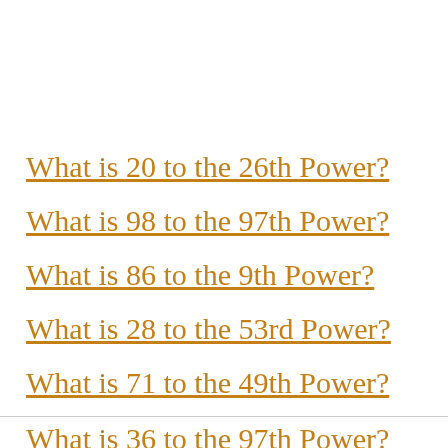What is 20 to the 26th Power?
What is 98 to the 97th Power?
What is 86 to the 9th Power?
What is 28 to the 53rd Power?
What is 71 to the 49th Power?
What is 36 to the 97th Power?